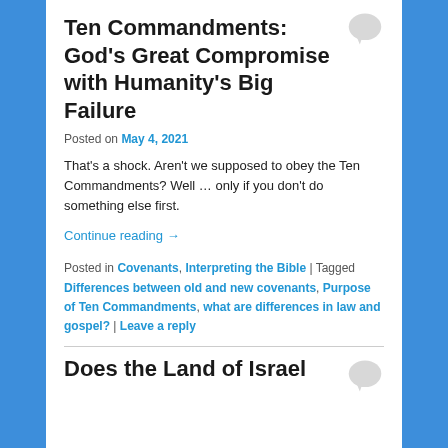Ten Commandments: God's Great Compromise with Humanity's Big Failure
Posted on May 4, 2021
That's a shock. Aren't we supposed to obey the Ten Commandments? Well … only if you don't do something else first.
Continue reading →
Posted in Covenants, Interpreting the Bible | Tagged Differences between old and new covenants, Purpose of Ten Commandments, what are differences in law and gospel? | Leave a reply
Does the Land of Israel